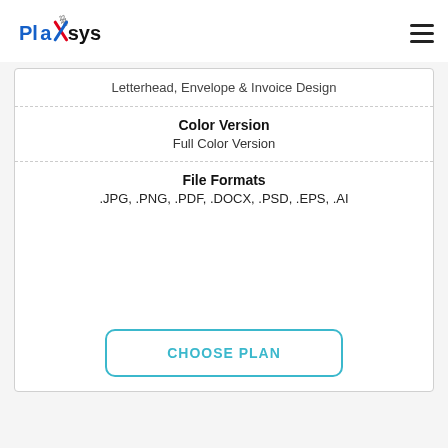Plaxsys
Letterhead, Envelope & Invoice Design
Color Version
Full Color Version
File Formats
.JPG, .PNG, .PDF, .DOCX, .PSD, .EPS, .AI
CHOOSE PLAN